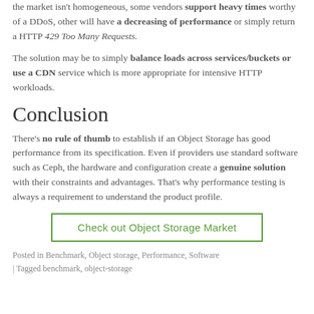the market isn't homogeneous, some vendors support heavy times worthy of a DDoS, other will have a decreasing of performance or simply return a HTTP 429 Too Many Requests.
The solution may be to simply balance loads across services/buckets or use a CDN service which is more appropriate for intensive HTTP workloads.
Conclusion
There's no rule of thumb to establish if an Object Storage has good performance from its specification. Even if providers use standard software such as Ceph, the hardware and configuration create a genuine solution with their constraints and advantages. That's why performance testing is always a requirement to understand the product profile.
Check out Object Storage Market
Posted in Benchmark, Object storage, Performance, Software | Tagged benchmark, object-storage